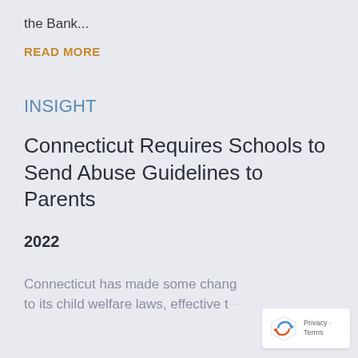the Bank...
READ MORE
INSIGHT
Connecticut Requires Schools to Send Abuse Guidelines to Parents
2022
Connecticut has made some changes to its child welfare laws, effective this...